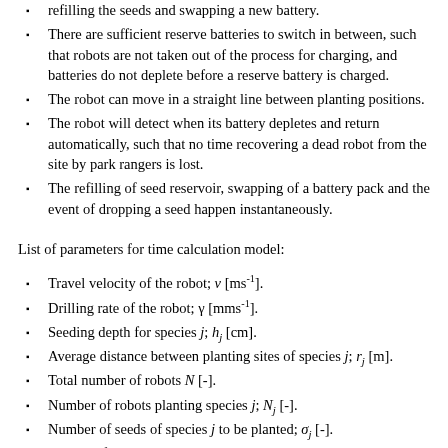refilling the seeds and swapping a new battery.
There are sufficient reserve batteries to switch in between, such that robots are not taken out of the process for charging, and batteries do not deplete before a reserve battery is charged.
The robot can move in a straight line between planting positions.
The robot will detect when its battery depletes and return automatically, such that no time recovering a dead robot from the site by park rangers is lost.
The refilling of seed reservoir, swapping of a battery pack and the event of dropping a seed happen instantaneously.
List of parameters for time calculation model:
Travel velocity of the robot; v [ms⁻¹].
Drilling rate of the robot; γ [mms⁻¹].
Seeding depth for species j; h_j [cm].
Average distance between planting sites of species j; r_j [m].
Total number of robots N [-].
Number of robots planting species j; N_j [-].
Number of seeds of species j to be planted; σ_j [-].
Battery life time; T_bat [h].
Seed reservoir capacity for species j; C_j [-].
Average travel time back to station; τ [min].